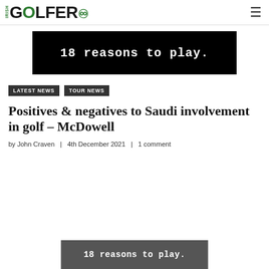IRISH GOLFER
[Figure (other): Black banner advertisement with white text reading '18 reasons to play.']
LATEST NEWS
TOUR NEWS
Positives & negatives to Saudi involvement in golf – McDowell
by John Craven  |  4th December 2021  |  1 comment
[Figure (other): Dark grey banner advertisement with white text reading '18 reasons to play.']